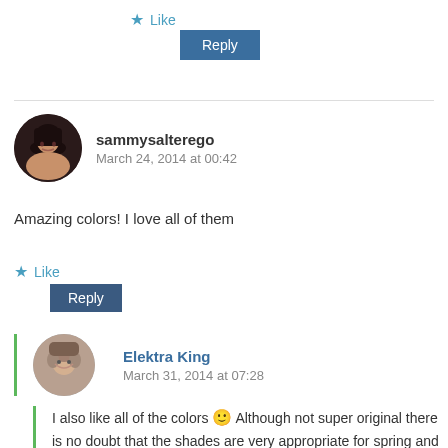★ Like
Reply
sammysalterego
March 24, 2014 at 00:42
Amazing colors! I love all of them
★ Like
Reply
Elektra King
March 31, 2014 at 07:28
I also like all of the colors 🙂 Although not super original there is no doubt that the shades are very appropriate for spring and